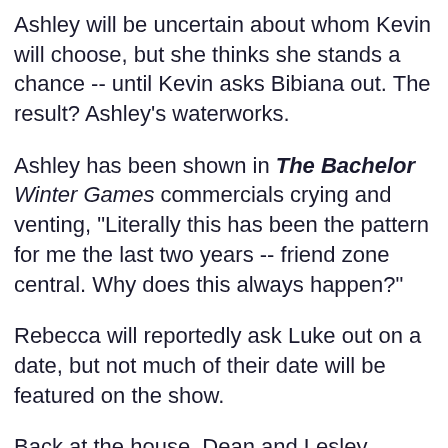Ashley will be uncertain about whom Kevin will choose, but she thinks she stands a chance -- until Kevin asks Bibiana out. The result? Ashley's waterworks.
Ashley has been shown in The Bachelor Winter Games commercials crying and venting, "Literally this has been the pattern for me the last two years -- friend zone central. Why does this always happen?"
Rebecca will reportedly ask Luke out on a date, but not much of their date will be featured on the show.
Back at the house, Dean and Lesley continue flirting, along with Josiah and Ally and international couple Courtney and Lily.
The only other couple fans will see emerge is Clare